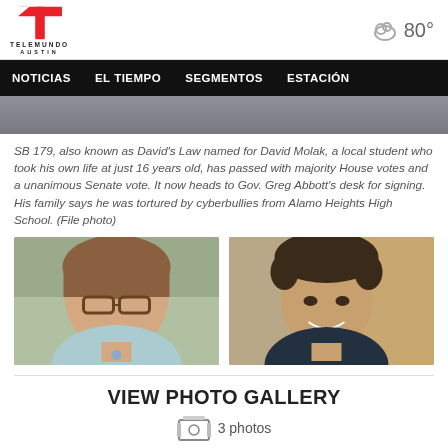[Figure (logo): Telemundo Austin logo with red T shape and text below]
80°
NOTICIAS   EL TIEMPO   SEGMENTOS   ESTACIÓN
[Figure (photo): Cropped photo showing a person's torso/shoulders as a hero banner strip]
SB 179, also known as David's Law named for David Molak, a local student who took his own life at just 16 years old, has passed with majority House votes and a unanimous Senate vote. It now heads to Gov. Greg Abbott's desk for signing. His family says he was tortured by cyberbullies from Alamo Heights High School. (File photo)
[Figure (photo): Photo of a woman with glasses and brown hair in a light blue top, appearing to speak]
[Figure (photo): Photo of a young man with dark curly hair smiling, wearing a dark shirt]
VIEW PHOTO GALLERY
3 photos